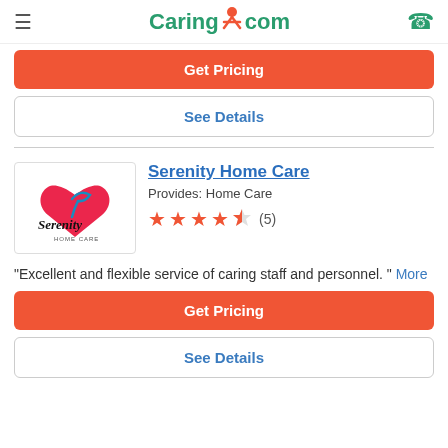Caring.com
Get Pricing
See Details
Serenity Home Care
Provides: Home Care
★★★★★½ (5)
"Excellent and flexible service of caring staff and personnel. " More
Get Pricing
See Details